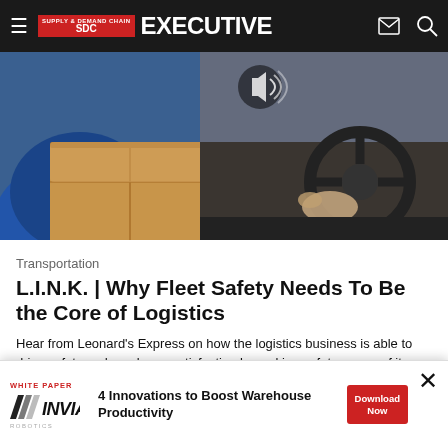Supply & Demand Chain Executive
[Figure (photo): A person in a blue shirt holding a cardboard box near a vehicle steering wheel, suggesting a delivery driver scene]
Transportation
L.I.N.K. | Why Fleet Safety Needs To Be the Core of Logistics
Hear from Leonard's Express on how the logistics business is able to drive safety and employee satisfaction by making safety a core of its strategy.
Leonard's Express    April 26, 2022
[Figure (infographic): Advertisement banner: INVIA Robotics White Paper - 4 Innovations to Boost Warehouse Productivity with Download Now button]